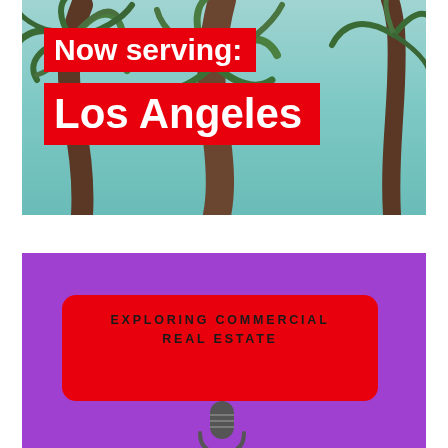[Figure (photo): Photo of palm trees viewed from below against a teal/cyan sky, with two red text banners overlaid reading 'Now serving:' and 'Los Angeles']
Now serving:
Los Angeles
[Figure (illustration): Purple background with a red rounded-corner card showing 'EXPLORING COMMERCIAL REAL ESTATE' text and a microphone icon partially visible at the bottom]
EXPLORING COMMERCIAL REAL ESTATE